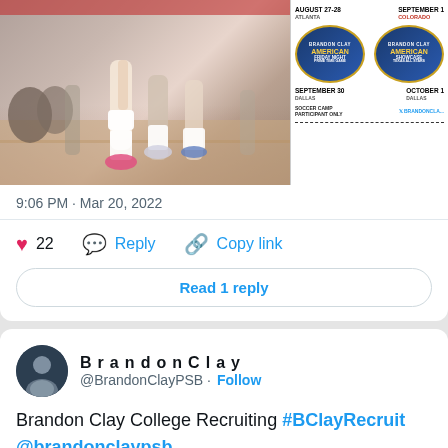[Figure (screenshot): Twitter/social media screenshot showing sports photo (basketball players' legs on court) and a promotional event flyer side by side]
9:06 PM · Mar 20, 2022
22  Reply  Copy link
Read 1 reply
BrandonClay @BrandonClayPSB · Follow
Brandon Clay College Recruiting #BClayRecruiting @brandonclaypsb
"150+ college placements since 2015."